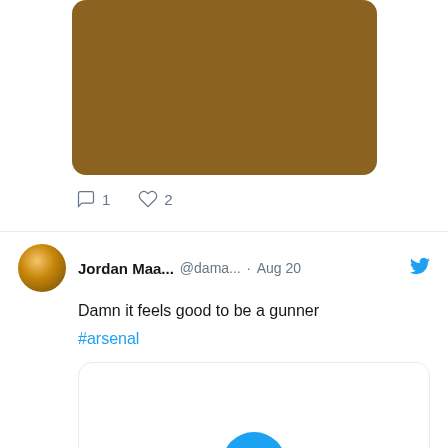[Figure (photo): Brown/tan colored image block (partially visible tweet image)]
1   2
[Figure (photo): Twitter avatar of Jordan Maa... user]
Jordan Maa... @dama... · Aug 20
Damn it feels good to be a gunner
#arsenal
[Figure (other): Video player thumbnail with play button]